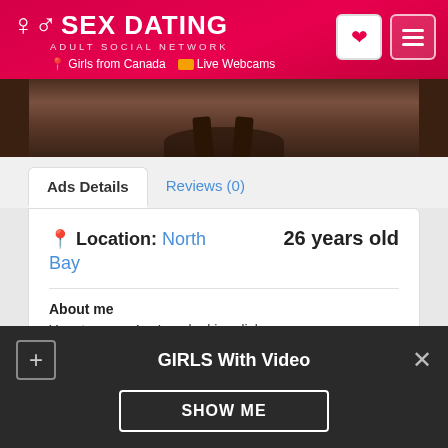SEX DATING ADULT SOCIAL NETWORK | Girls from Canada | Live Webcams
[Figure (photo): Partial body photo, dark tones, feet/legs visible]
Ads Details | Reviews (0)
Location: North Bay    26 years old
About me
Your turn... m4w. I am looking dick.
GIRLS With Video
SHOW ME